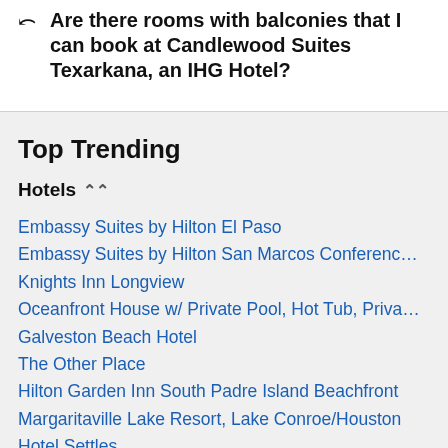Are there rooms with balconies that I can book at Candlewood Suites Texarkana, an IHG Hotel?
Top Trending
Hotels
Embassy Suites by Hilton El Paso
Embassy Suites by Hilton San Marcos Conferenc…
Knights Inn Longview
Oceanfront House w/ Private Pool, Hot Tub, Priva…
Galveston Beach Hotel
The Other Place
Hilton Garden Inn South Padre Island Beachfront
Margaritaville Lake Resort, Lake Conroe/Houston
Hotel Settles